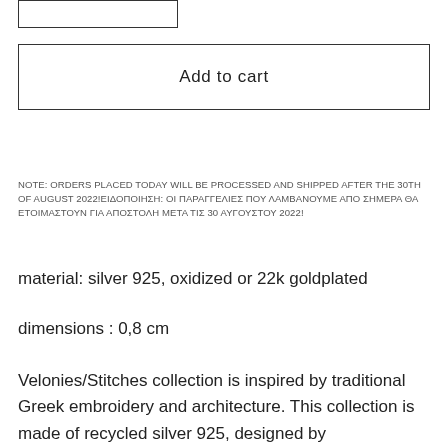[Figure (other): Partial view of a button/input box at the top of the page, cut off]
Add to cart
NOTE: ORDERS PLACED TODAY WILL BE PROCESSED AND SHIPPED AFTER THE 30TH OF AUGUST 2022!ΕΙΔΟΠΟΙΗΣΗ: ΟΙ ΠΑΡΑΓΓΕΛΙΕΣ ΠΟΥ ΛΑΜΒΑΝΟΥΜΕ ΑΠΟ ΣΗΜΕΡΑ ΘΑ ΕΤΟΙΜΑΣΤΟΥΝ ΓΙΑ ΑΠΟΣΤΟΛΗ ΜΕΤΑ ΤΙΣ 30 ΑΥΓΟΥΣΤΟΥ 2022!
material: silver 925, oxidized or 22k goldplated
dimensions : 0,8 cm
Velonies/Stitches collection is inspired by traditional Greek embroidery and architecture. This collection is made of recycled silver 925, designed by